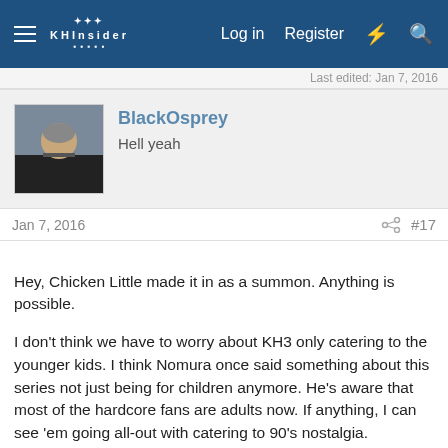KHInsider forum header with Log in, Register navigation
Last edited: Jan 7, 2016
BlackOsprey
Hell yeah
Jan 7, 2016  #17
Hey, Chicken Little made it in as a summon. Anything is possible.

I don't think we have to worry about KH3 only catering to the younger kids. I think Nomura once said something about this series not just being for children anymore. He's aware that most of the hardcore fans are adults now. If anything, I can see 'em going all-out with catering to 90's nostalgia.
VoidGear.
red gay